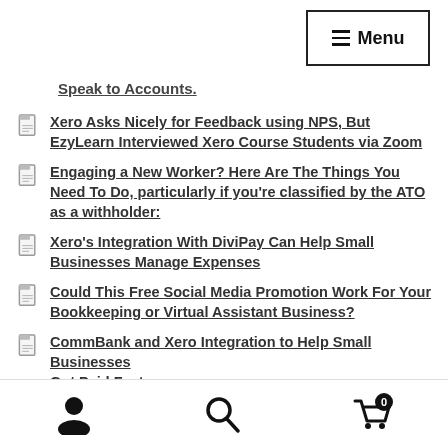≡ Menu
Speak to Accounts.
Xero Asks Nicely for Feedback using NPS, But EzyLearn Interviewed Xero Course Students via Zoom
Engaging a New Worker? Here Are The Things You Need To Do, particularly if you're classified by the ATO as a withholder:
Xero's Integration With DiviPay Can Help Small Businesses Manage Expenses
Could This Free Social Media Promotion Work For Your Bookkeeping or Virtual Assistant Business?
CommBank and Xero Integration to Help Small Businesses Got Paid Faster
user icon | search icon | cart (0)